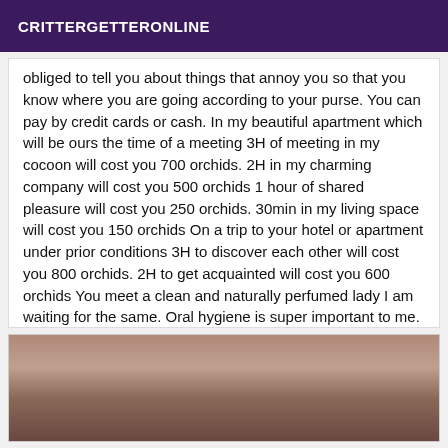CRITTERGETTERONLINE
obliged to tell you about things that annoy you so that you know where you are going according to your purse. You can pay by credit cards or cash. In my beautiful apartment which will be ours the time of a meeting 3H of meeting in my cocoon will cost you 700 orchids. 2H in my charming company will cost you 500 orchids 1 hour of shared pleasure will cost you 250 orchids. 30min in my living space will cost you 150 orchids On a trip to your hotel or apartment under prior conditions 3H to discover each other will cost you 800 orchids. 2H to get acquainted will cost you 600 orchids You meet a clean and naturally perfumed lady I am waiting for the same. Oral hygiene is super important to me. Orchids are my favorite flowers. A bottle of champagne would be welcome to enhance our appointment. Tenderly, Alixia
[Figure (photo): Close-up photo of a person's face, partially visible]